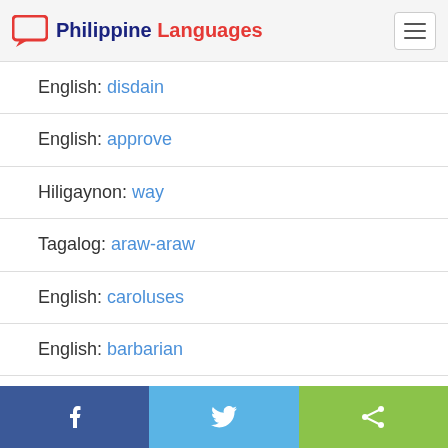Philippine Languages
English: disdain
English: approve
Hiligaynon: way
Tagalog: araw-araw
English: caroluses
English: barbarian
Facebook | Twitter | Share